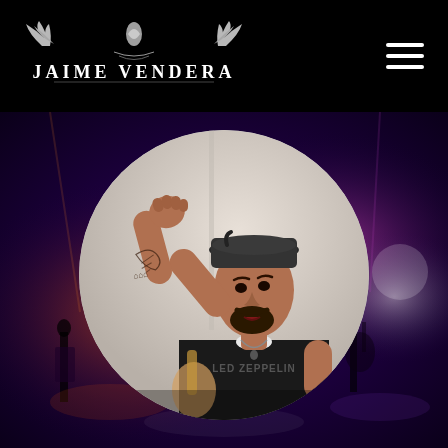[Figure (logo): Jaime Vendera logo with stylized wings and gothic lettering on black background]
[Figure (photo): Man wearing a black cap and Led Zeppelin t-shirt with tattoos on arm, raising fist, circular portrait overlaid on purple-lit concert background]